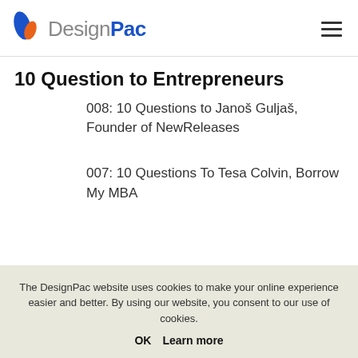DesignPac
10 Question to Entrepreneurs
008: 10 Questions to Janoš Guljaš, Founder of NewReleases
007: 10 Questions To Tesa Colvin, Borrow My MBA
The DesignPac website uses cookies to make your online experience easier and better. By using our website, you consent to our use of cookies.
OK   Learn more